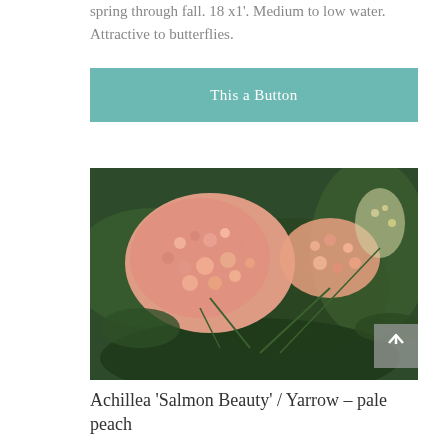spring through fall. 18 x1'. Medium to low water. Attractive to butterflies.
This a Button
[Figure (photo): Close-up photo of Achillea 'Salmon Beauty' yarrow plant showing clusters of pale peach/salmon-colored flowers with green ferny foliage]
Achillea 'Salmon Beauty' / Yarrow – pale peach